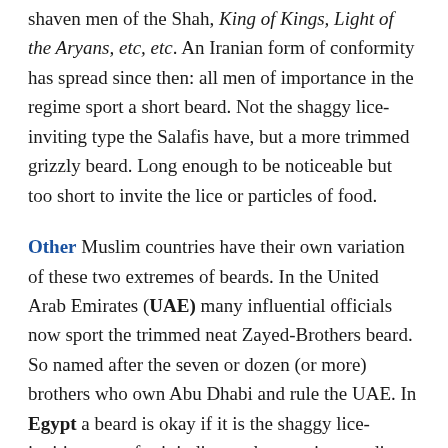shaven men of the Shah, King of Kings, Light of the Aryans, etc, etc. An Iranian form of conformity has spread since then: all men of importance in the regime sport a short beard. Not the shaggy lice-inviting type the Salafis have, but a more trimmed grizzly beard. Long enough to be noticeable but too short to invite the lice or particles of food.
Other Muslim countries have their own variation of these two extremes of beards. In the United Arab Emirates (UAE) many influential officials now sport the trimmed neat Zayed-Brothers beard. So named after the seven or dozen (or more) brothers who own Abu Dhabi and rule the UAE. In Egypt a beard is okay if it is the shaggy lice-inviting type, for it indicates the man is an ordinary Salafist who can be bought and not a Muslim Brother. In Syria, well, no matter what kind of beard you have in